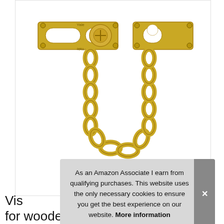[Figure (photo): A Yale-branded polished brass door chain lock. The lock consists of two brass mounting plates connected by a heavy gold-colored chain forming a U-shape. The left plate has a sliding bar with an oval slot, attached to a round connector piece. The right plate is a separate receiver bracket. Both plates have visible screw holes. The chain hangs down between them in a curved U shape.]
As an Amazon Associate I earn from qualifying purchases. This website uses the only necessary cookies to ensure you get the best experience on our website. More information
Vi... for wooden doors, Polished Brass